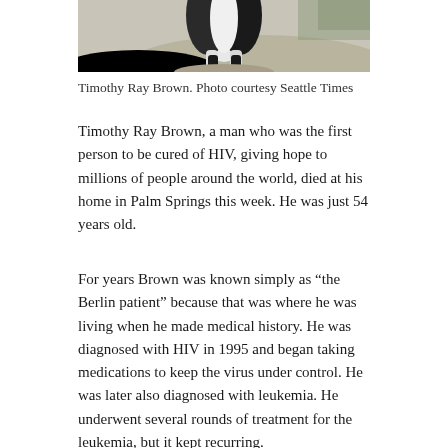[Figure (photo): Partial photo of a dog (black and white coloring) on a sandy/rocky surface, cropped at top showing only lower portion of the animal]
Timothy Ray Brown. Photo courtesy Seattle Times
Timothy Ray Brown, a man who was the first person to be cured of HIV, giving hope to millions of people around the world, died at his home in Palm Springs this week. He was just 54 years old.
For years Brown was known simply as “the Berlin patient” because that was where he was living when he made medical history. He was diagnosed with HIV in 1995 and began taking medications to keep the virus under control. He was later also diagnosed with leukemia. He underwent several rounds of treatment for the leukemia, but it kept recurring.